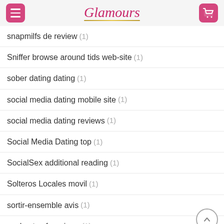Glamours
snapmilfs de review (1)
Sniffer browse around tids web-site (1)
sober dating dating (1)
social media dating mobile site (1)
social media dating reviews (1)
Social Media Dating top (1)
SocialSex additional reading (1)
Solteros Locales movil (1)
sortir-ensemble avis (1)
soulmates fr reviews (1)